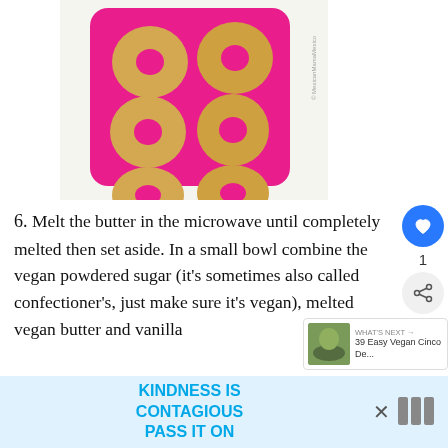[Figure (photo): Six baked donuts in a pink silicone donut mold on a white surface, overhead view. Watermark reads © MexicanMamaMexico]
6. Melt the butter in the microwave until completely melted then set aside. In a small bowl combine the vegan powdered sugar (it's sometimes also called confectioner's, just make sure it's vegan), melted vegan butter and vanilla extract. Mix until smooth and combined.
WHAT'S NEXT → 39 Easy Vegan Cinco De...
KINDNESS IS CONTAGIOUS PASS IT ON